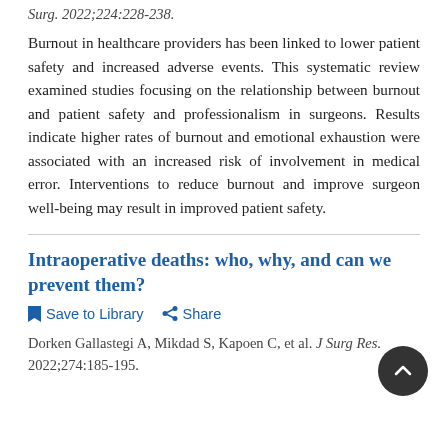Surg. 2022;224:228-238.
Burnout in healthcare providers has been linked to lower patient safety and increased adverse events. This systematic review examined studies focusing on the relationship between burnout and patient safety and professionalism in surgeons. Results indicate higher rates of burnout and emotional exhaustion were associated with an increased risk of involvement in medical error. Interventions to reduce burnout and improve surgeon well-being may result in improved patient safety.
Intraoperative deaths: who, why, and can we prevent them?
Save to Library   Share
Dorken Gallastegi A, Mikdad S, Kapoen C, et al. J Surg Res. 2022;274:185-195.